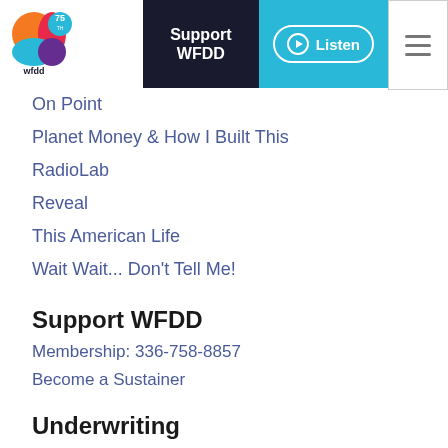[Figure (logo): WFDD 75th anniversary logo with colorful swirl and 'wfdd' text]
[Figure (screenshot): Support WFDD dark button and cyan Listen button with play icon in header nav]
On Point
Planet Money & How I Built This
RadioLab
Reveal
This American Life
Wait Wait... Don't Tell Me!
Support WFDD
Membership: 336-758-8857
Become a Sustainer
Underwriting
[Figure (illustration): Two cyan icons: a person/account icon and an envelope/email icon]
News Tips